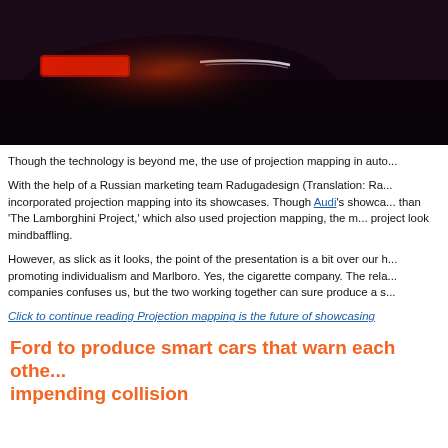[Figure (photo): Dark close-up photo of a car, likely showing lighting or projection mapping effects against a dark background]
Though the technology is beyond me, the use of projection mapping in auto...
With the help of a Russian marketing team Radugadesign (Translation: Ra... incorporated projection mapping into its showcases. Though Audi's showca... than 'The Lamborghini Project,' which also used projection mapping, the m... project look mindbaffling.
However, as slick as it looks, the point of the presentation is a bit over our h... promoting individualism and Marlboro. Yes, the cigarette company. The rela... companies confuses us, but the two working together can sure produce a s...
Click to continue reading Projection mapping is the future of showcasing
Read More | Autoblog
Tools: Permalink | Share on Twitter | Share on Facebook | Comments (0) | Email
Ford to produce smart cars that warn each othe... impending collision